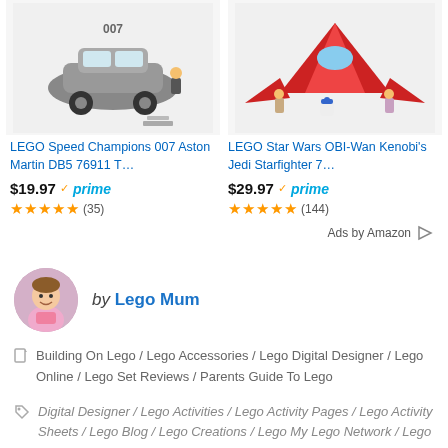[Figure (photo): LEGO Speed Champions 007 Aston Martin DB5 product image showing a gray model car with minifigure]
[Figure (photo): LEGO Star Wars OBI-Wan Kenobi Jedi Starfighter product image showing a red and white starfighter with R2-D2 and figures]
LEGO Speed Champions 007 Aston Martin DB5 76911 T…
LEGO Star Wars OBI-Wan Kenobi's Jedi Starfighter 7…
$19.97 ✓prime ★★★★★ (35)
$29.97 ✓prime ★★★★★ (144)
Ads by Amazon ▷
[Figure (photo): Circular author avatar photo of a young girl wearing a pink shirt]
by Lego Mum
Building On Lego / Lego Accessories / Lego Digital Designer / Lego Online / Lego Set Reviews / Parents Guide To Lego
Digital Designer / Lego Activities / Lego Activity Pages / Lego Activity Sheets / Lego Blog / Lego Creations / Lego My Lego Network / Lego Online / My Lego Network